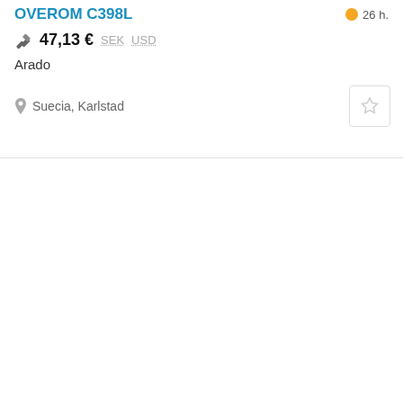OVEROM C398L
26 h.
47,13 € SEK USD
Arado
Suecia, Karlstad